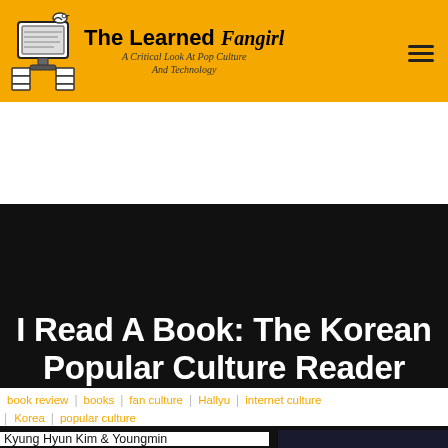The Learned Fangirl — A Critical Look At Pop Culture And Technology
I Read A Book: The Korean Popular Culture Reader
BY RAIZEL
book review | books | fan culture | Hallyu | internet culture | Korea | popular culture
Kyung Hyun Kim & Youngmin